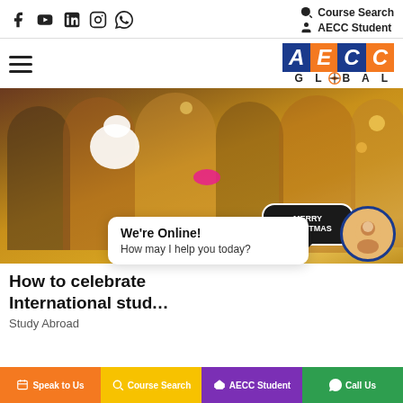Course Search | AECC Student
[Figure (logo): AECC Global logo with colored letter blocks A E C C and GLOBAL text below]
[Figure (photo): Group of young people at a Christmas party holding props including a Merry Christmas speech bubble sign, a Santa beard, and pink lips]
How to celebrate Christmas as an International student
Study Abroad
We're Online! How may I help you today?
Speak to Us | Course Search | AECC Student | Call Us